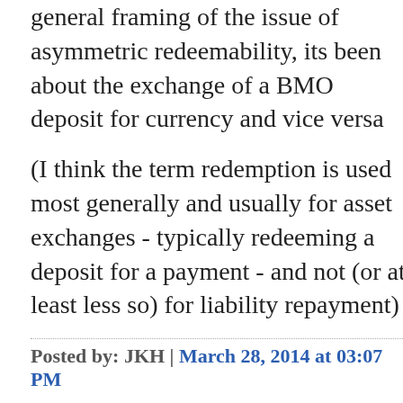general framing of the issue of asymmetric redeemability, its been about the exchange of a BMO deposit for currency and vice versa
(I think the term redemption is used most generally and usually for asset exchanges - typically redeeming a deposit for a payment - and not (or at least less so) for liability repayment)
Posted by: JKH | March 28, 2014 at 03:07 PM
Nick, good post.
My reading of this post is that it's like all the other posts